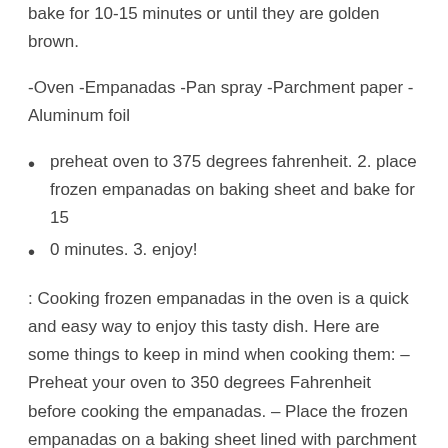bake for 10-15 minutes or until they are golden brown.
-Oven -Empanadas -Pan spray -Parchment paper -Aluminum foil
preheat oven to 375 degrees fahrenheit. 2. place frozen empanadas on baking sheet and bake for 15
0 minutes. 3. enjoy!
: Cooking frozen empanadas in the oven is a quick and easy way to enjoy this tasty dish. Here are some things to keep in mind when cooking them: – Preheat your oven to 350 degrees Fahrenheit before cooking the empanadas. – Place the frozen empanadas on a baking sheet lined with parchment paper and bake